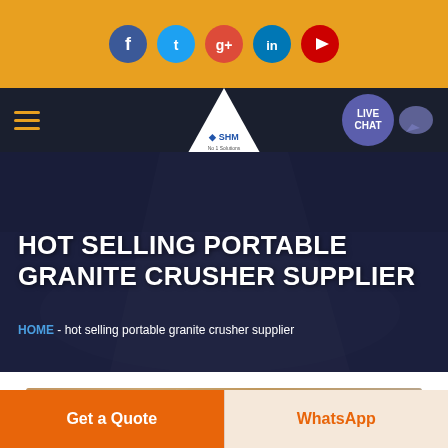[Figure (screenshot): Social media icons bar with Facebook, Twitter, Google+, LinkedIn, YouTube icons on golden/orange background]
[Figure (screenshot): Navigation bar with hamburger menu, SHM logo triangle, and LIVE CHAT button]
HOT SELLING PORTABLE GRANITE CRUSHER SUPPLIER
HOME  -  hot selling portable granite crusher supplier
[Figure (photo): Partial view of machinery/industrial image at bottom of hero section]
Get a Quote
WhatsApp